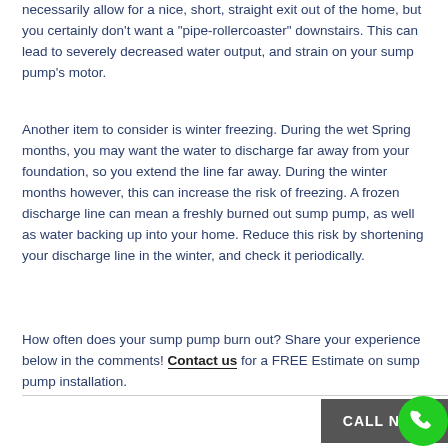necessarily allow for a nice, short, straight exit out of the home, but you certainly don't want a "pipe-rollercoaster" downstairs. This can lead to severely decreased water output, and strain on your sump pump's motor.
Another item to consider is winter freezing. During the wet Spring months, you may want the water to discharge far away from your foundation, so you extend the line far away. During the winter months however, this can increase the risk of freezing. A frozen discharge line can mean a freshly burned out sump pump, as well as water backing up into your home. Reduce this risk by shortening your discharge line in the winter, and check it periodically.
How often does your sump pump burn out? Share your experience below in the comments! Contact us for a FREE Estimate on sump pump installation.
[Figure (other): Green circular phone/call icon button next to a dark grey 'CALL NOW' button at the bottom right of the page]